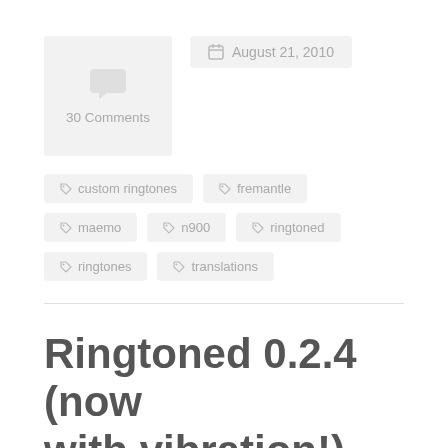[Figure (other): Comment count box with chat bubble icon showing '30 Comments']
August 21, 2010
custom ringtones
fremantle
maemo
n900
ringtoned
ringtones
translations
Ringtoned 0.2.4 (now with vibration!)
I just released ringtoned 0.2.4 with a fix to make the N900 able to vibrate again when a call is received. Ringtoned (displayed in the application manager as